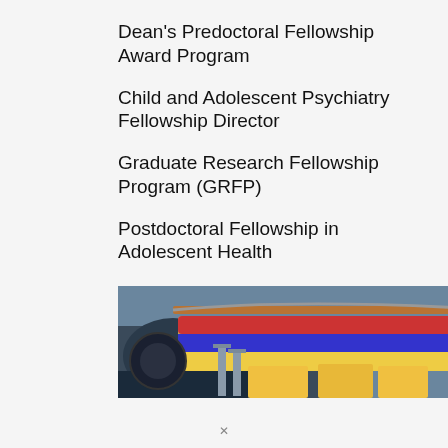Dean's Predoctoral Fellowship Award Program
Child and Adolescent Psychiatry Fellowship Director
Graduate Research Fellowship Program (GRFP)
Postdoctoral Fellowship in Adolescent Health
CDC Laboratory Research Fellowship in Arbovirology
[Figure (photo): Advertisement banner showing airplane cargo loading with text 'WITHOUT REGARD TO POLITICS, RELIGION OR ABILITY TO PAY']